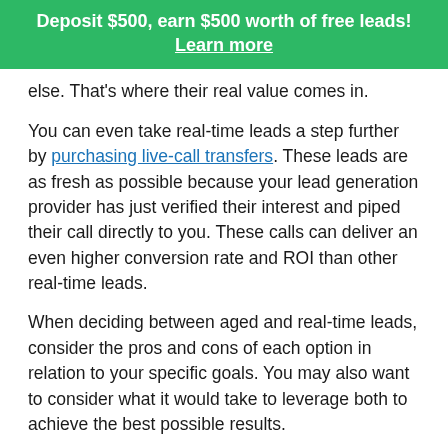Deposit $500, earn $500 worth of free leads! Learn more
else. That's where their real value comes in.
You can even take real-time leads a step further by purchasing live-call transfers. These leads are as fresh as possible because your lead generation provider has just verified their interest and piped their call directly to you. These calls can deliver an even higher conversion rate and ROI than other real-time leads.
When deciding between aged and real-time leads, consider the pros and cons of each option in relation to your specific goals. You may also want to consider what it would take to leverage both to achieve the best possible results.
In the end, you're the one who has the best ideas to achieve your goals. Consider all of the options